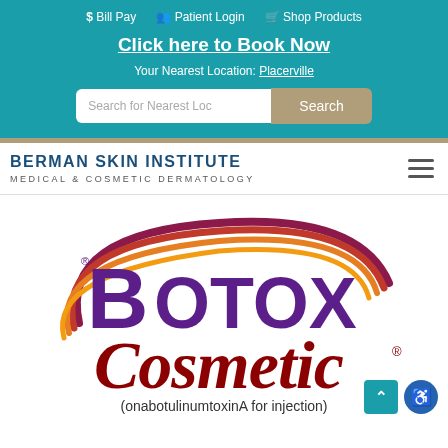$ Bill Pay   Patient Login   Shop Products
Click here to Book Now
Your Nearest Location: Placerville
Search for Nearest Loc   Search
[Figure (logo): Berman Skin Institute - Medical & Cosmetic Dermatology logo with hamburger menu]
[Figure (logo): Botox Cosmetic logo with purple BOTOX text and red cursive Cosmetic text with registered trademark symbol]
(onabotulinumtoxinA for injection)